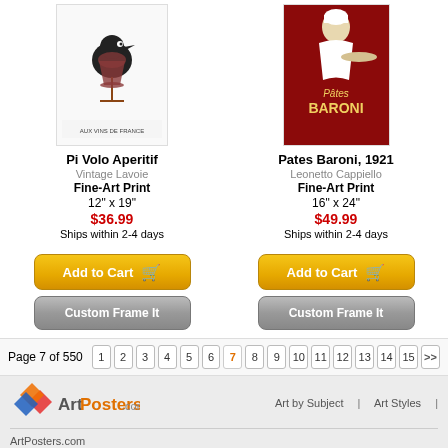[Figure (illustration): Pi Volo Aperitif vintage poster showing a bird with wine glass, text 'AUX VINS DE FRANCE']
Pi Volo Aperitif
Vintage Lavoie
Fine-Art Print
12" x 19"
$36.99
Ships within 2-4 days
[Figure (illustration): Pates Baroni 1921 vintage poster on red background with figure holding a plate]
Pates Baroni, 1921
Leonetto Cappiello
Fine-Art Print
16" x 24"
$49.99
Ships within 2-4 days
Page 7 of 550
[Figure (logo): ArtPosters.com logo with colorful diamond shapes]
Art by Subject | Art Styles
ArtPosters.com
49 Stouts Lane
Monmouth Junction, NJ 08852
1-800-581-0300
© 2022 ArtPosters.com. All rights reserved.